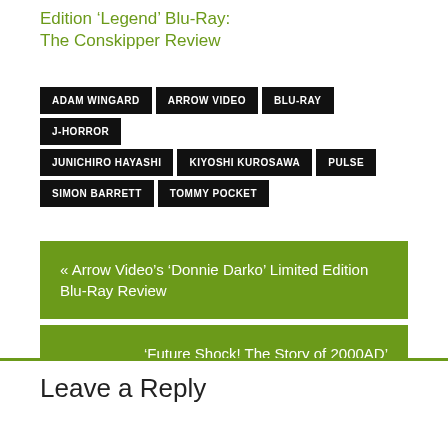Edition ‘Legend’ Blu-Ray: The Conskipper Review
ADAM WINGARD
ARROW VIDEO
BLU-RAY
J-HORROR
JUNICHIRO HAYASHI
KIYOSHI KUROSAWA
PULSE
SIMON BARRETT
TOMMY POCKET
« Arrow Video’s ‘Donnie Darko’ Limited Edition Blu-Ray Review
‘Future Shock! The Story of 2000AD’ Documentary Review »
Leave a Reply